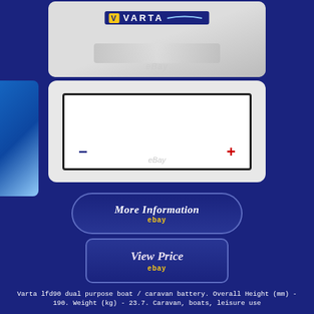[Figure (photo): Varta branded car/leisure battery top view showing label with VARTA logo, silver/grey body]
[Figure (photo): Battery side/terminal view showing white body with black border, blue minus terminal on left and red plus terminal on right, eBay watermark]
[Figure (other): More Information button with eBay watermark, dark blue rounded rectangle button with italic white text and yellow ebay label]
[Figure (other): View Price button with eBay watermark, dark blue rounded rectangle button with italic light text and yellow ebay label]
Varta lfd90 dual purpose boat / caravan battery. Overall Height (mm) - 190. Weight (kg) - 23.7. Caravan, boats, leisure use